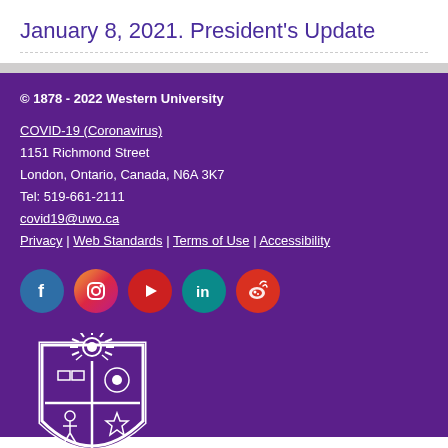January 8, 2021. President's Update
© 1878 - 2022 Western University

COVID-19 (Coronavirus)
1151 Richmond Street
London, Ontario, Canada, N6A 3K7
Tel: 519-661-2111
covid19@uwo.ca
Privacy | Web Standards | Terms of Use | Accessibility
[Figure (logo): Western University logo: shield crest with crown/sunburst top, cross divided into four quadrants with symbols, and 'Western' wordmark below in white serif font on purple background]
[Figure (infographic): Social media icons row: Facebook (blue circle), Instagram (gradient circle), YouTube/play button (red circle), LinkedIn (teal circle), Weibo (red circle)]